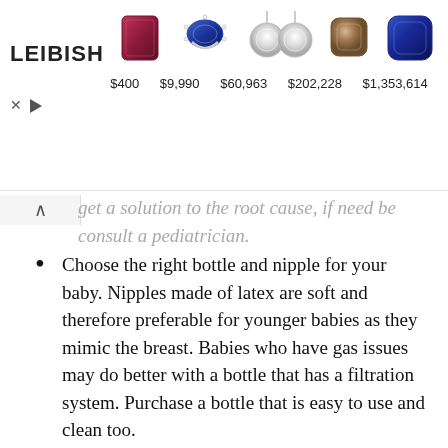[Figure (screenshot): Leibish jewelry advertisement banner showing 5 gem/jewelry items with prices: $400, $9,990, $60,963, $202,228, $1,353,614]
...get a solution to the root cause, if need be consult a pediatrician.
Choose the right bottle and nipple for your baby. Nipples made of latex are soft and therefore preferable for younger babies as they mimic the breast. Babies who have gas issues may do better with a bottle that has a filtration system. Purchase a bottle that is easy to use and clean too.
Provide a fresh supply of breast milk as often as possible. Freezing and thawing alter breast milk taste. Change the formula if the baby has a problem with it. If you don't like its taste or smell, get a different one.